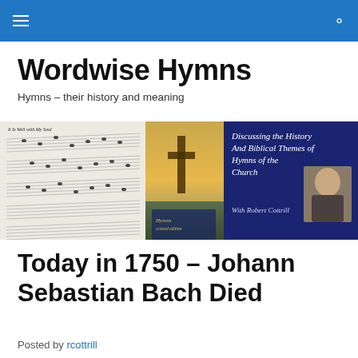Wordwise Hymns — navigation bar with hamburger menu and search icon
Wordwise Hymns
Hymns – their history and meaning
[Figure (illustration): Website banner image showing sheet music on the left, a cross silhouetted against a sunset sky in the center, and on the right a dark blue panel reading 'Discussing the History And Biblical Themes of Hymns of the Church With Robert Cottrill' with a photo of Robert Cottrill]
Today in 1750 – Johann Sebastian Bach Died
Posted by rcottrill